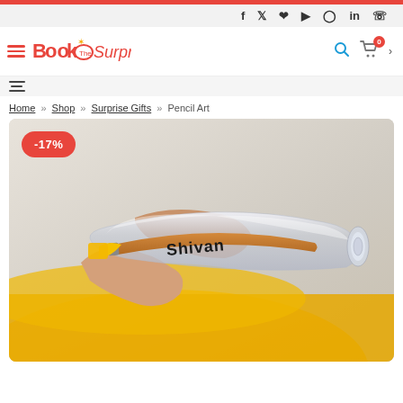Top navigation bar with social icons: f, twitter, pinterest, youtube, instagram, linkedin, whatsapp
[Figure (logo): Book The Surprise logo with hamburger menu, search icon, cart icon]
Home » Shop » Surprise Gifts » Pencil Art
[Figure (photo): Close-up photo of a hand holding a pencil inside a glass tube with 'Shivan' engraved on it, wrapped in yellow fabric. -17% discount badge visible.]